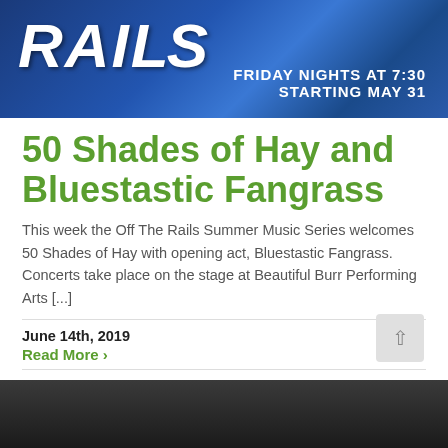[Figure (photo): Banner image with 'RAILS' text in white italic bold letters on a blue gradient background, with text 'FRIDAY NIGHTS AT 7:30 STARTING MAY 31' on the right side]
50 Shades of Hay and Bluestastic Fangrass
This week the Off The Rails Summer Music Series welcomes 50 Shades of Hay with opening act, Bluestastic Fangrass. Concerts take place on the stage at Beautiful Burr Performing Arts [...]
June 14th, 2019
Read More ›
[Figure (photo): Bottom portion of a dark photograph showing part of a person's face/head at the bottom of the page]